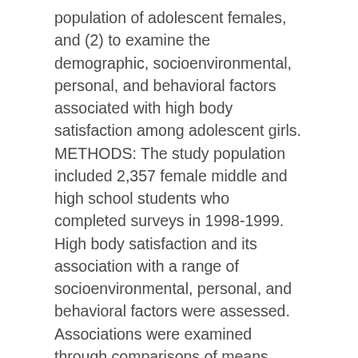population of adolescent females, and (2) to examine the demographic, socioenvironmental, personal, and behavioral factors associated with high body satisfaction among adolescent girls. METHODS: The study population included 2,357 female middle and high school students who completed surveys in 1998-1999. High body satisfaction and its association with a range of socioenvironmental, personal, and behavioral factors were assessed. Associations were examined through comparisons of means (unadjusted and adjusted for grade level, race, socioeconomic status, and body mass index [BMI]) for continuous variables, and percentages and odds ratios for dichotomized variables. RESULTS: Over a quarter (26.7%) of adolescent girls reported high